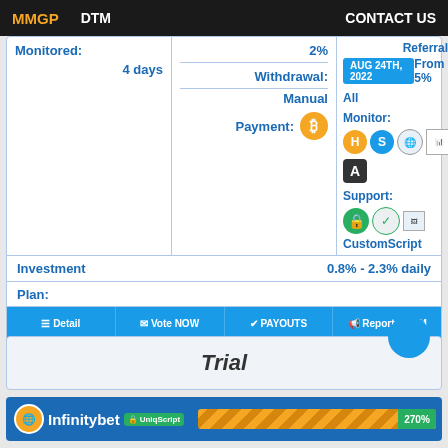MMGP   DTM   CONTACT US
| Monitored | 2% | Payout | Referral |
| --- | --- | --- | --- |
| 4 days | Withdrawal: Manual | AUG 24TH, 2022 | From 5% |
|  | Payment: ₿ | All |  |
|  |  | Monitor: H S ○ □ A |  |
|  |  | Support: 🔒 🛡 CustomScript |  |
Investment Plan:   0.8% - 2.3% daily
☰ Detail   ✉ Vote NOW   ✔ PAYOUTS   📢 Report SCAM
🔖 Bookmark   🔄 RCB: 100%
Trial
[Figure (infographic): Infinitybet listing with UniqScript badge and 270% progress bar]